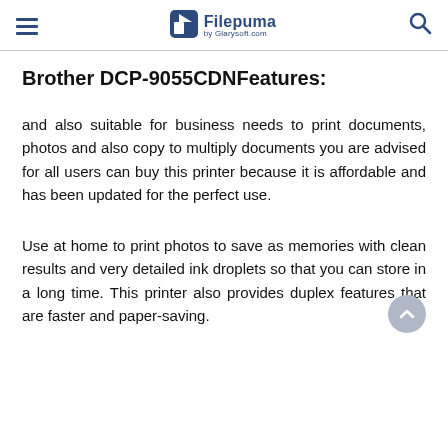Filepuma by Glarysoft.com
Brother DCP-9055CDNFeatures:
and also suitable for business needs to print documents, photos and also copy to multiply documents you are advised for all users can buy this printer because it is affordable and has been updated for the perfect use.
Use at home to print photos to save as memories with clean results and very detailed ink droplets so that you can store in a long time. This printer also provides duplex features that are faster and paper-saving.